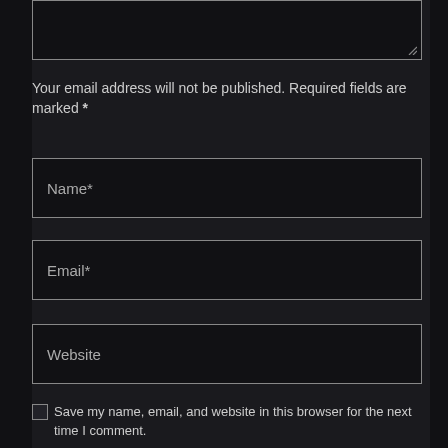Your email address will not be published. Required fields are marked *
Name*
Email*
Website
Save my name, email, and website in this browser for the next time I comment.